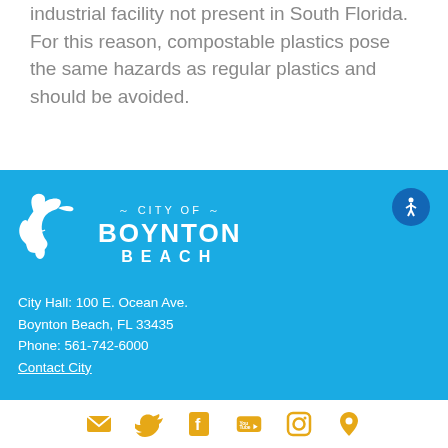industrial facility not present in South Florida. For this reason, compostable plastics pose the same hazards as regular plastics and should be avoided.
[Figure (logo): City of Boynton Beach logo with marlin fish and city name text]
City Hall: 100 E. Ocean Ave.
Boynton Beach, FL 33435
Phone: 561-742-6000
Contact City
[Figure (infographic): Social media icons row: email, Twitter, Facebook, YouTube, Instagram, location pin]